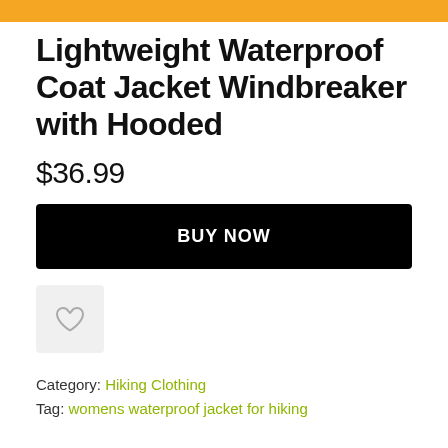Lightweight Waterproof Coat Jacket Windbreaker with Hooded
$36.99
BUY NOW
[Figure (illustration): Heart/wishlist icon button in a light gray rounded square]
Category: Hiking Clothing
Tag: womens waterproof jacket for hiking